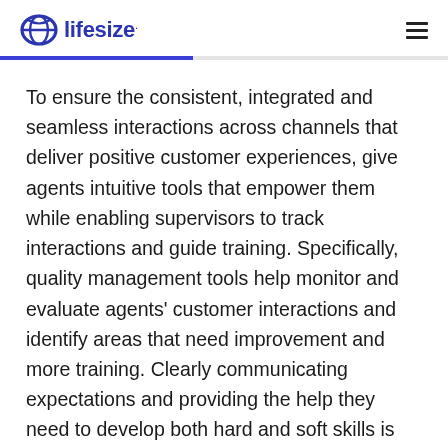lifesize
To ensure the consistent, integrated and seamless interactions across channels that deliver positive customer experiences, give agents intuitive tools that empower them while enabling supervisors to track interactions and guide training. Specifically, quality management tools help monitor and evaluate agents' customer interactions and identify areas that need improvement and more training. Clearly communicating expectations and providing the help they need to develop both hard and soft skills is